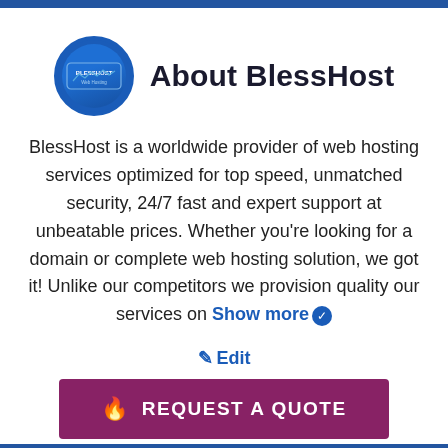About BlessHost
BlessHost is a worldwide provider of web hosting services optimized for top speed, unmatched security, 24/7 fast and expert support at unbeatable prices. Whether you're looking for a domain or complete web hosting solution, we got it! Unlike our competitors we provision quality our services on Show more
✎ Edit
REQUEST A QUOTE